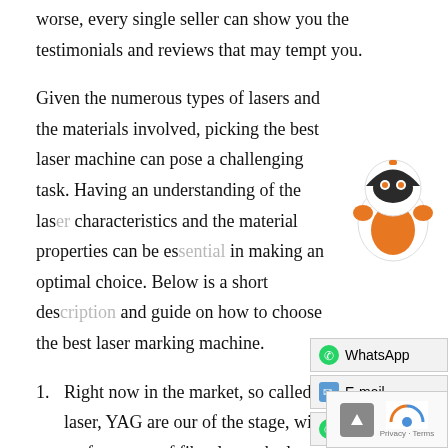worse, every single seller can show you the testimonials and reviews that may tempt you.
Given the numerous types of lasers and the materials involved, picking the best laser machine can pose a challenging task. Having an understanding of the laser characteristics and the material properties can be essential in making an optimal choice. Below is a short description and guide on how to choose the best laser marking machine.
Right now in the market, so called diode laser, YAG are our of the stage, with best performance of fiber laser, the laser machine world is becoming more peace marking or engraving on your metak and some of plastics, fiber laser become your first choice. However,
[Figure (illustration): Robot mascot illustration in orange and black colors]
[Figure (screenshot): Contact panel with WhatsApp, E-mail, and Service buttons]
[Figure (screenshot): reCAPTCHA widget with scroll-up arrow]